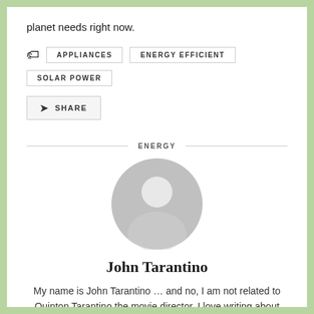planet needs right now.
APPLIANCES
ENERGY EFFICIENT
SOLAR POWER
SHARE
ENERGY
[Figure (illustration): Generic user avatar placeholder — grey circle with silhouette of a person (head and shoulders)]
John Tarantino
My name is John Tarantino … and no, I am not related to Quinton Tarantino the movie director. I love writing about the environment, traveling, and capturing the world with my Lens as